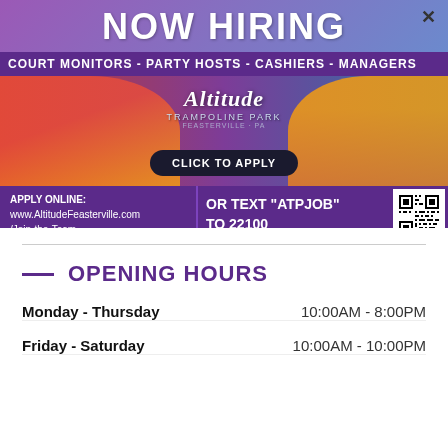[Figure (infographic): Now Hiring banner for Altitude Trampoline Park Feasterville. Shows two smiling employees in orange shirts. Roles: Court Monitors, Party Hosts, Cashiers, Managers. Apply online at www.AltitudeFeasterville.com/Join-the-Team or text ATPJOB to 22100. QR code included.]
OPENING HOURS
Monday - Thursday    10:00AM - 8:00PM
Friday - Saturday    10:00AM - 10:00PM